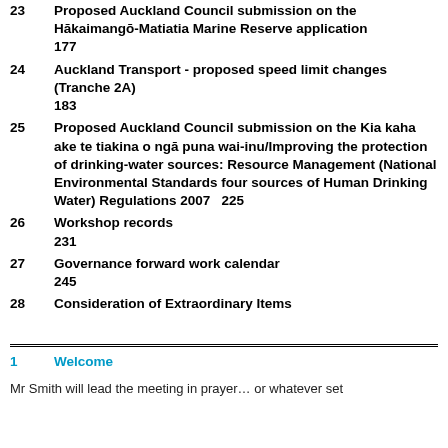23   Proposed Auckland Council submission on the Hākaimangō-Matiatia Marine Reserve application   177
24   Auckland Transport - proposed speed limit changes (Tranche 2A)   183
25   Proposed Auckland Council submission on the Kia kaha ake te tiakina o ngā puna wai-inu/Improving the protection of drinking-water sources: Resource Management (National Environmental Standards four sources of Human Drinking Water) Regulations 2007   225
26   Workshop records   231
27   Governance forward work calendar   245
28   Consideration of Extraordinary Items
1   Welcome
Mr Smith will lead the meeting in prayer… or whatever set